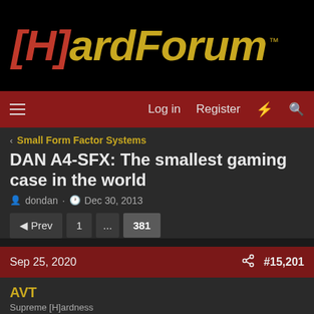[Figure (logo): [H]ardForum logo with red bracket H and gold ardForum text on black background]
Log in  Register
< Small Form Factor Systems
DAN A4-SFX: The smallest gaming case in the world
dondan · Dec 30, 2013
◄ Prev  1  ...  381
Sep 25, 2020  #15,201
AVT
Supreme [H]ardness
TheSandman2236 said: ↑
Thank you! haha Backplate made ZERO difference. It's the shroud that's actually the problem. Backplate fits fine. It's the XC3